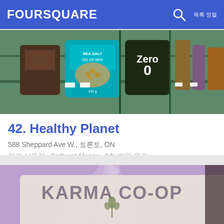FOURSQUARE
[Figure (photo): Photo of grocery store shelves with products including Sea Salt Sel de Mer and Zero brand items]
42. Healthy Planet
588 Sheppard Ave W., 토론토, ON
건강 식품점 · Bathurst Manor · 2회 방문 완료
[Figure (photo): Photo of Karma Co-op Food Store sign in purple/lavender lit environment]
43. Karma Co-operative